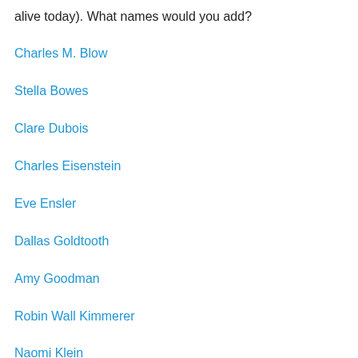alive today). What names would you add?
Charles M. Blow
Stella Bowes
Clare Dubois
Charles Eisenstein
Eve Ensler
Dallas Goldtooth
Amy Goodman
Robin Wall Kimmerer
Naomi Klein